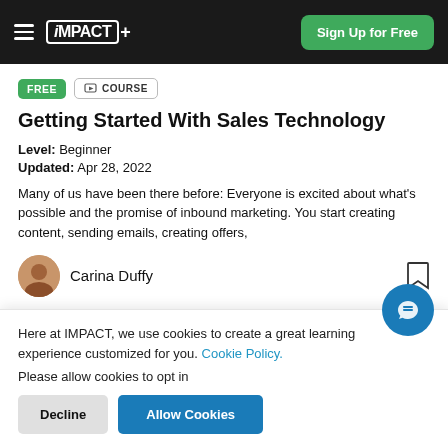iMPACT+ | Sign Up for Free
FREE  COURSE
Getting Started With Sales Technology
Level: Beginner
Updated: Apr 28, 2022
Many of us have been there before: Everyone is excited about what's possible and the promise of inbound marketing. You start creating content, sending emails, creating offers,
Carina Duffy
Here at IMPACT, we use cookies to create a great learning experience customized for you. Cookie Policy.
Please allow cookies to opt in
Decline
Allow Cookies